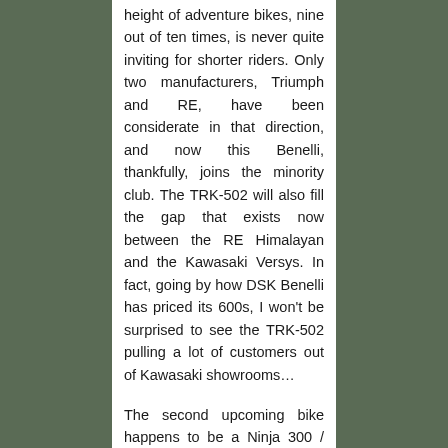height of adventure bikes, nine out of ten times, is never quite inviting for shorter riders. Only two manufacturers, Triumph and RE, have been considerate in that direction, and now this Benelli, thankfully, joins the minority club. The TRK-502 will also fill the gap that exists now between the RE Himalayan and the Kawasaki Versys. In fact, going by how DSK Benelli has priced its 600s, I won't be surprised to see the TRK-502 pulling a lot of customers out of Kawasaki showrooms…
The second upcoming bike happens to be a Ninja 300 / YZF-R3 rival. It's called the Tornado 302, and is basically the faired